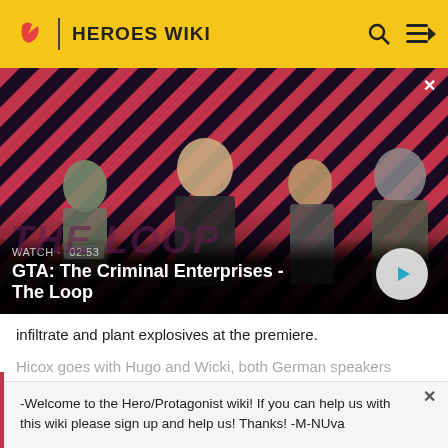HEROES WIKI
[Figure (screenshot): GTA: The Criminal Enterprises - The Loop video thumbnail showing four game characters on a diagonal red and dark striped background with a play button overlay. Shows 'WATCH · 02:53' label and title 'GTA: The Criminal Enterprises - The Loop']
infiltrate and plant explosives at the premiere.
Hicox goes with Hugo and Wicki, both German speakers
-Welcome to the Hero/Protagonist wiki! If you can help us with this wiki please sign up and help us! Thanks! -M-NUva